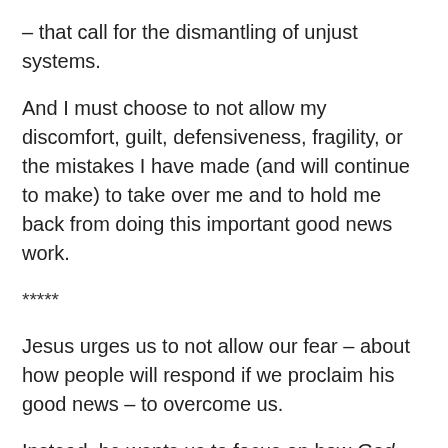– that call for the dismantling of unjust systems.
And I must choose to not allow my discomfort, guilt, defensiveness, fragility, or the mistakes I have made (and will continue to make) to take over me and to hold me back from doing this important good news work.
*****
Jesus urges us to not allow our fear – about how people will respond if we proclaim his good news – to overcome us.
Instead, he wants us to focus on how God perceives us.
Because – as Jesus tells the crowds only a few chapters after today's reading: God loves even the sparrows.  And yet, to God: we are far more valuable